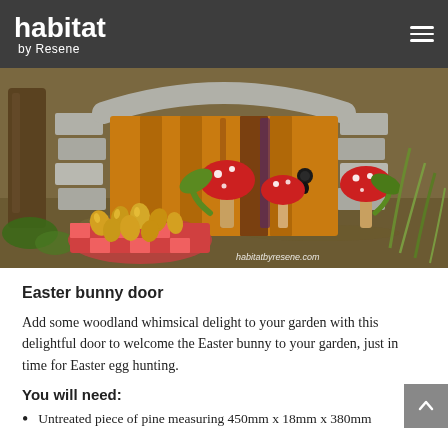habitat by Resene
[Figure (photo): A whimsical painted wooden fairy/Easter bunny door set against a tree base, decorated with painted red-capped mushrooms and stone arch motif. In the foreground is a basket of golden foil-wrapped Easter eggs on a red checked cloth, surrounded by garden foliage. Watermark: habitatbyresene.com]
Easter bunny door
Add some woodland whimsical delight to your garden with this delightful door to welcome the Easter bunny to your garden, just in time for Easter egg hunting.
You will need:
Untreated piece of pine measuring 450mm x 18mm x 380mm